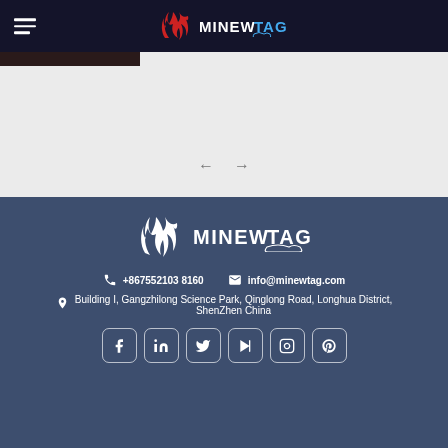[Figure (logo): Minew Tag logo in top navbar — white flame/swirl icon with MINEW TAG text]
[Figure (other): Dark content area with a dark banner at top and navigation left/right arrows at bottom center]
[Figure (logo): Minew Tag logo in footer — white version of the flame/swirl icon with MINEW TAG text]
+86‌755‌2103 8160
info@minewtag.com
Building I, Gangzhilong Science Park, Qinglong Road, Longhua District, ShenZhen China
[Figure (other): Row of 6 social media icons: Facebook, LinkedIn, Twitter, YouTube, Instagram, Pinterest — white rounded square icons]